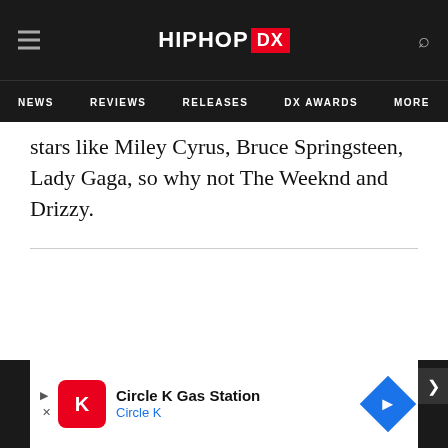HIPHOP DX — NEWS | REVIEWS | RELEASES | DX AWARDS | MORE
stars like Miley Cyrus, Bruce Springsteen, Lady Gaga, so why not The Weeknd and Drizzy.
[Figure (screenshot): Advertisement for Circle K Gas Station showing Circle K logo, text 'Circle K Gas Station' and 'Circle K', and a blue navigation arrow icon.]